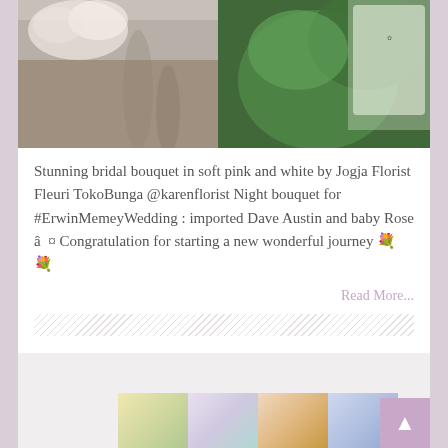[Figure (photo): Bridal bouquet and wedding invitation on wooden surface with greenery]
Stunning bridal bouquet in soft pink and white by Jogja Florist Fleuri TokoBunga @karenflorist Night bouquet for #ErwinMemeyWedding : imported Dave Austin and baby Rose â ¤ Congratulation for starting a new wonderful journey 💐💐
Read More...
[Figure (photo): Thumbnail collage of floral bouquet photos at bottom of page]